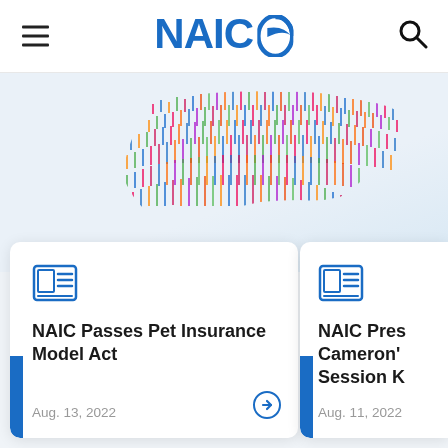NAIC
[Figure (illustration): Colorful 3D people figures arranged in the shape of the United States of America on a light blue-grey background]
NAIC Passes Pet Insurance Model Act
Aug. 13, 2022
NAIC Pres Cameron' Session K
Aug. 11, 2022